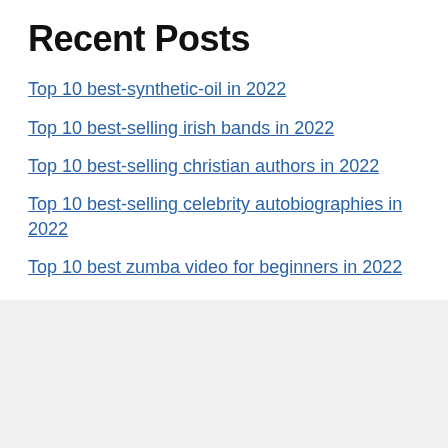Recent Posts
Top 10 best-synthetic-oil in 2022
Top 10 best-selling irish bands in 2022
Top 10 best-selling christian authors in 2022
Top 10 best-selling celebrity autobiographies in 2022
Top 10 best zumba video for beginners in 2022